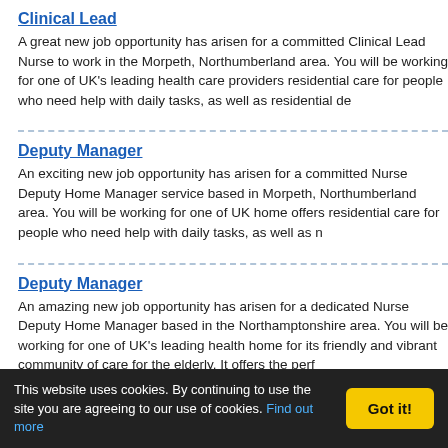Clinical Lead
A great new job opportunity has arisen for a committed Clinical Lead Nurse to work in the Morpeth, Northumberland area. You will be working for one of UK's leading health care providers residential care for people who need help with daily tasks, as well as residential de
Deputy Manager
An exciting new job opportunity has arisen for a committed Nurse Deputy Home Manager service based in Morpeth, Northumberland area. You will be working for one of UK home offers residential care for people who need help with daily tasks, as well as n
Deputy Manager
An amazing new job opportunity has arisen for a dedicated Nurse Deputy Home Manager based in the Northamptonshire area. You will be working for one of UK's leading health home for its friendly and vibrant community of care for the elderly. It offers the perf
Physiotherapy Manager
A fantastic new job opportunity has arisen for a committed Physiotherapy Manager in the Mile End, Colchester area. You will be working for one of UK's leading health reputation for delivering high quality private hospital treatments and services. The h
This website uses cookies. By continuing to use the site you are agreeing to our use of cookies. Find out more Got it!